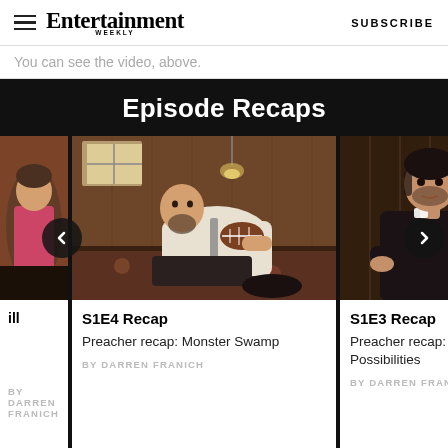Entertainment Weekly | SUBSCRIBE
You can see the video, above.
Episode Recaps
[Figure (photo): Partially visible episode card on the left edge]
[Figure (photo): Center card: man in white shirt holding football, lying on bed in wood-paneled room]
S1E4 Recap
Preacher recap: Monster Swamp
BY DARREN FRANICH
[Figure (photo): Right card: man in dark shirt sitting in moody lighting]
S1E3 Recap
Preacher recap: The Possibilities
BY DARREN FRANICH